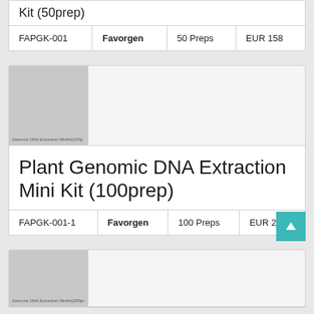Kit (50prep)
| FAPGK-001 | Favorgen | 50 Preps | EUR 158 |
[Figure (photo): Product image placeholder for Plant Genomic DNA Extraction Mini Kit (100prep)]
Plant Genomic DNA Extraction Mini Kit (100prep)
| FAPGK-001-1 | Favorgen | 100 Preps | EUR 204 |
[Figure (photo): Product image placeholder for Genomic DNA Extraction MiniKit (200prep)]